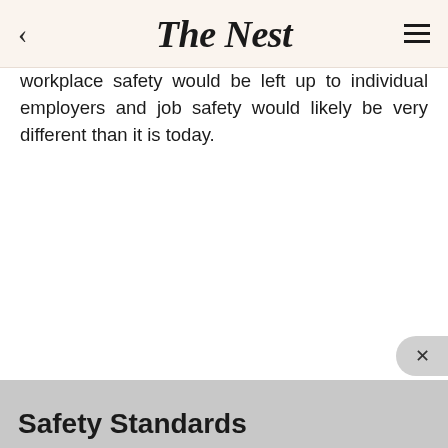The Nest
workplace safety would be left up to individual employers and job safety would likely be very different than it is today.
Safety Standards